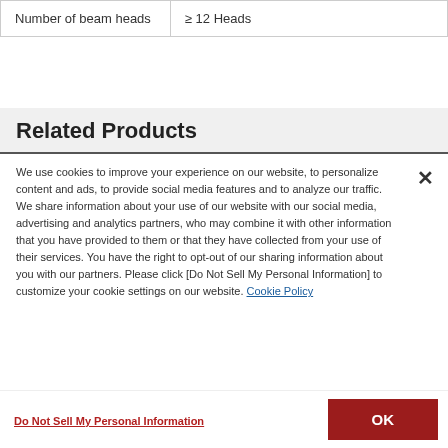| Number of beam heads | ≥ 12 Heads |
Related Products
We use cookies to improve your experience on our website, to personalize content and ads, to provide social media features and to analyze our traffic. We share information about your use of our website with our social media, advertising and analytics partners, who may combine it with other information that you have provided to them or that they have collected from your use of their services. You have the right to opt-out of our sharing information about you with our partners. Please click [Do Not Sell My Personal Information] to customize your cookie settings on our website. Cookie Policy
Do Not Sell My Personal Information
OK